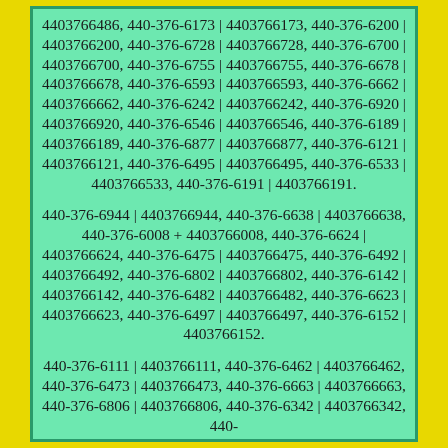4403766486, 440-376-6173 | 4403766173, 440-376-6200 | 4403766200, 440-376-6728 | 4403766728, 440-376-6700 | 4403766700, 440-376-6755 | 4403766755, 440-376-6678 | 4403766678, 440-376-6593 | 4403766593, 440-376-6662 | 4403766662, 440-376-6242 | 4403766242, 440-376-6920 | 4403766920, 440-376-6546 | 4403766546, 440-376-6189 | 4403766189, 440-376-6877 | 4403766877, 440-376-6121 | 4403766121, 440-376-6495 | 4403766495, 440-376-6533 | 4403766533, 440-376-6191 | 4403766191.
440-376-6944 | 4403766944, 440-376-6638 | 4403766638, 440-376-6008 + 4403766008, 440-376-6624 | 4403766624, 440-376-6475 | 4403766475, 440-376-6492 | 4403766492, 440-376-6802 | 4403766802, 440-376-6142 | 4403766142, 440-376-6482 | 4403766482, 440-376-6623 | 4403766623, 440-376-6497 | 4403766497, 440-376-6152 | 4403766152.
440-376-6111 | 4403766111, 440-376-6462 | 4403766462, 440-376-6473 | 4403766473, 440-376-6663 | 4403766663, 440-376-6806 | 4403766806, 440-376-6342 | 4403766342, 440-...